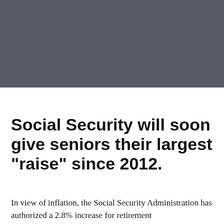[Figure (photo): Dark gray rectangular banner/header image occupying the top portion of the page]
Social Security will soon give seniors their largest "raise" since 2012.
In view of inflation, the Social Security Administration has authorized a 2.8% increase for retirement